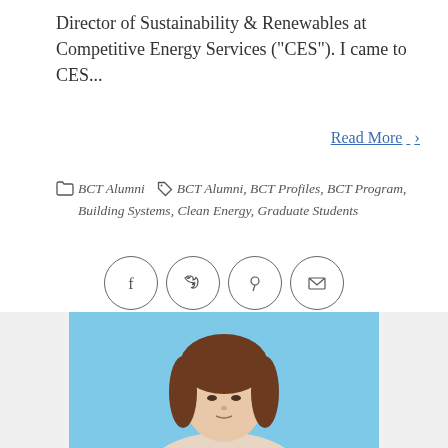Director of Sustainability & Renewables at Competitive Energy Services ("CES"). I came to CES...
Read More >
BCT Alumni   BCT Alumni, BCT Profiles, BCT Program, Building Systems, Clean Energy, Graduate Students
[Figure (other): Social media sharing icons: Facebook, Twitter, Pinterest, Email — each in a circle]
[Figure (photo): Portrait photo of a woman with brown hair against a light blue background, cropped at lower portion of page]